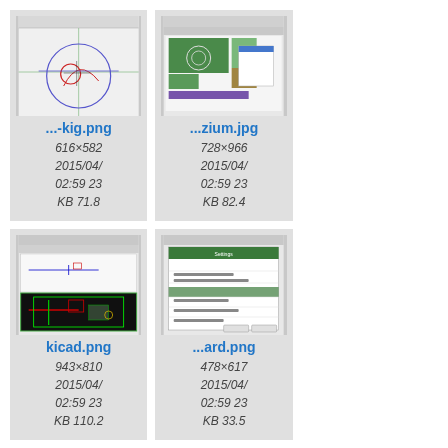[Figure (screenshot): CAD/geometry software screenshot with circles and lines on white background]
...-kig.png
616×582
2015/04/
02:59 23
KB 71.8
[Figure (screenshot): EDA/PCB layout software screenshot with colorful board design]
...zium.jpg
728×966
2015/04/
02:59 23
KB 82.4
[Figure (screenshot): KiCad PCB design software screenshot showing circuit board]
kicad.png
943×810
2015/04/
02:59 23
KB 110.2
[Figure (screenshot): Software dialog/settings window screenshot]
...ard.png
478×617
2015/04/
02:59 23
KB 33.5